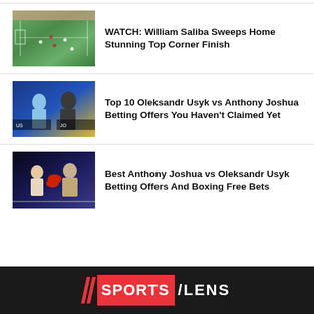[Figure (photo): Football match aerial view showing green pitch with players and goal]
WATCH: William Saliba Sweeps Home Stunning Top Corner Finish
[Figure (photo): Pre-fight face-off between Usyk and Joshua in boxing arena]
Top 10 Oleksandr Usyk vs Anthony Joshua Betting Offers You Haven't Claimed Yet
[Figure (photo): Anthony Joshua vs Oleksandr Usyk boxing match action shot]
Best Anthony Joshua vs Oleksandr Usyk Betting Offers And Boxing Free Bets
SPORTS LENS logo